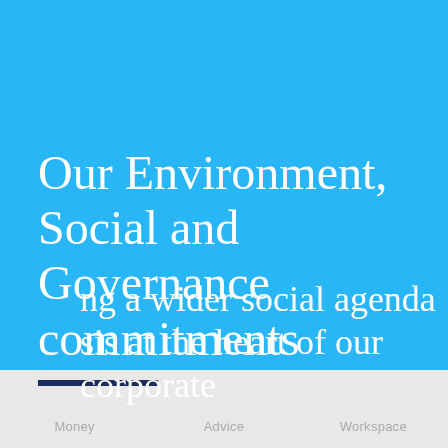Our Environment, Social and Governance commitments
ng a wider social agenda sis at the heart of our corporate
Money   Advice   Workspace